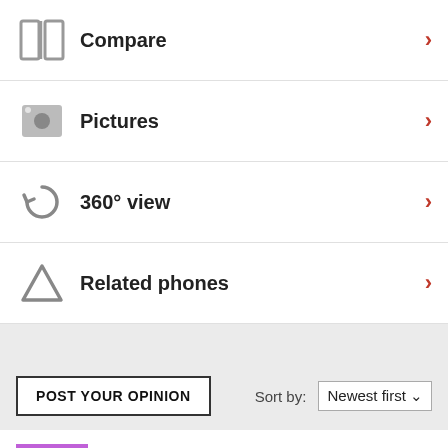Compare
Pictures
360° view
Related phones
POST YOUR OPINION
Sort by: Newest first
BLINKCHIK  RKn  30 Jan 2009
honestly, this phone is unique n attractive. nice cam, very clear n loud sounds. BUT the only thing is when taking pictures, at times it says "OPERATION FAILED". 2ndly, it hangs once in awhile.